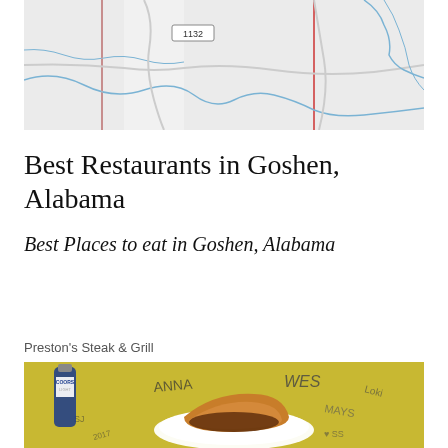[Figure (map): Street map of Goshen, Alabama area showing road 1132 with red vertical lines and blue road/river lines on light gray background]
Best Restaurants in Goshen, Alabama
Best Places to eat in Goshen, Alabama
Preston's Steak & Grill
[Figure (photo): Photo of food at Preston's Steak & Grill showing a sandwich/burger on a white plate, with Coors Light bottle visible, on a yellow graffiti-covered table surface]